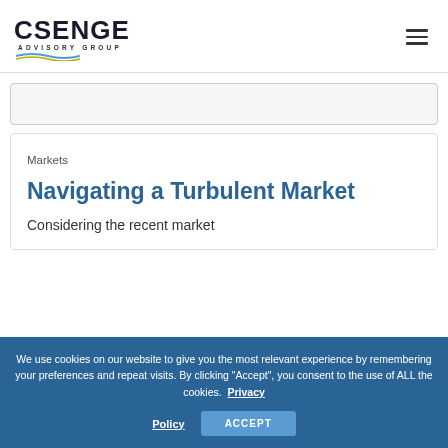[Figure (logo): CSENGE Advisory Group logo with wave graphic underline]
Markets
Navigating a Turbulent Market
Considering the recent market
We use cookies on our website to give you the most relevant experience by remembering your preferences and repeat visits. By clicking “Accept”, you consent to the use of ALL the cookies. Privacy Policy
ACCEPT